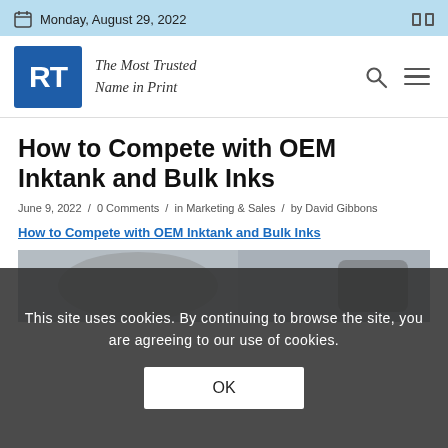Monday, August 29, 2022
[Figure (logo): RT logo with tagline 'The Most Trusted Name in Print']
How to Compete with OEM Inktank and Bulk Inks
June 9, 2022 / 0 Comments / in Marketing & Sales / by David Gibbons
How to Compete with OEM Inktank and Bulk Inks
[Figure (photo): Photo of person with printer ink cartridge]
This site uses cookies. By continuing to browse the site, you are agreeing to our use of cookies.